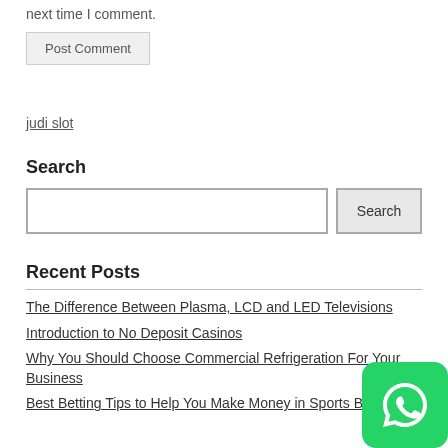next time I comment.
Post Comment
judi slot
Search
Recent Posts
The Difference Between Plasma, LCD and LED Televisions
Introduction to No Deposit Casinos
Why You Should Choose Commercial Refrigeration For Your Business
Best Betting Tips to Help You Make Money in Sports Betting
[Figure (logo): WhatsApp icon button (green rounded square with white phone icon)]